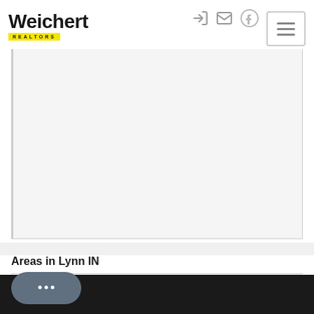[Figure (logo): Weichert Realtors logo with bold text and yellow bar with REALTORS subtitle]
[Figure (screenshot): Map area showing Lynn IN region, light gray background placeholder]
Areas in Lynn IN
Washington